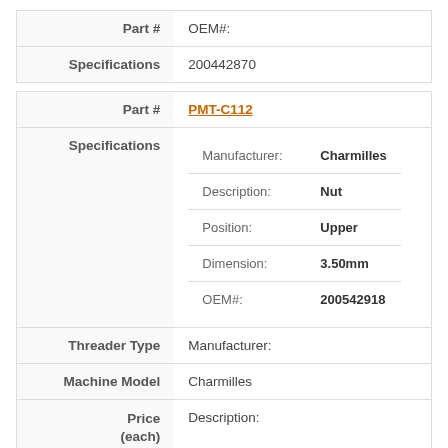| Field | Value |
| --- | --- |
| Part # | OEM#: |
| Specifications | 200442870 |
| Field | Value |
| --- | --- |
| Part # | PMT-C112 |
| Specifications | Manufacturer: Charmilles
Description: Nut
Position: Upper
Dimension: 3.50mm
OEM#: 200542918 |
| Threader Type | Manufacturer: |
| Machine Model | Charmilles |
| Price (each) | Description: |
|  | Nut |